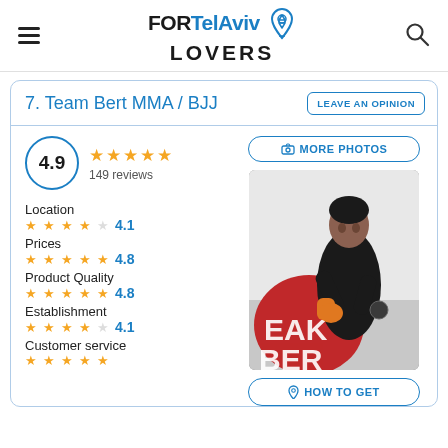FORTelAviv LOVERS
7. Team Bert MMA / BJJ
LEAVE AN OPINION
4.9 — 149 reviews
MORE PHOTOS
Location 4.1
Prices 4.8
Product Quality 4.8
Establishment 4.1
Customer service 4.8
[Figure (photo): MMA fighter in black shirt with orange hand wraps in fighting stance, Team Bert logo visible in background]
HOW TO GET